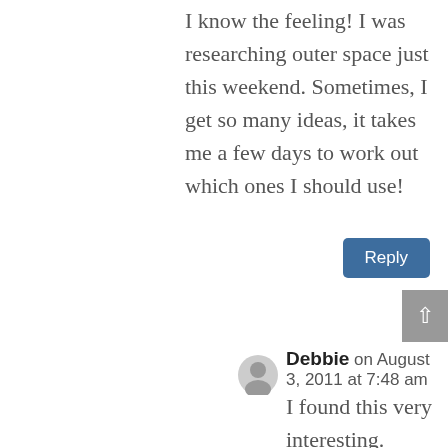I know the feeling! I was researching outer space just this weekend. Sometimes, I get so many ideas, it takes me a few days to work out which ones I should use!
Reply
Debbie on August 3, 2011 at 7:48 am
I found this very interesting. Woodstock caught my eye because although I was not there the music is famous ever continuing. More in him